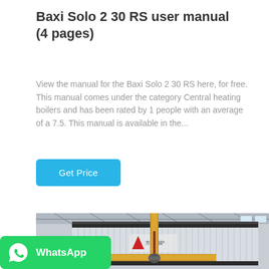Baxi Solo 2 30 RS user manual (4 pages)
View the manual for the Baxi Solo 2 30 RS here, for free. This manual comes under the category Central heating boilers and has been rated by 1 people with an average of a 7.5. This manual is available in the...
Get Price
[Figure (photo): Industrial boiler unit in a factory/warehouse setting. A large corrugated metal boiler body with Chinese text and logo (方正锅炉) visible. Yellow gas pipes run in front of the unit. Overhead steel structure and windows visible in background.]
[Figure (logo): WhatsApp promotional banner with green background, WhatsApp speech-bubble icon on left, and bold white text 'WhatsApp' on right.]